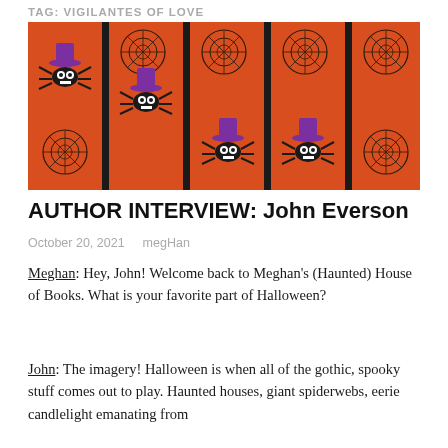TAG: VIGILANTES OF LOVE
[Figure (illustration): Orange and black Halloween-themed pattern featuring cartoon spiders wearing purple witch hats and spider webs on a red-orange background.]
AUTHOR INTERVIEW: John Everson
October 20, 2021   megHan
Meghan: Hey, John! Welcome back to Meghan's (Haunted) House of Books. What is your favorite part of Halloween?
John: The imagery! Halloween is when all of the gothic, spooky stuff comes out to play. Haunted houses, giant spiderwebs, eerie candlelight emanating from